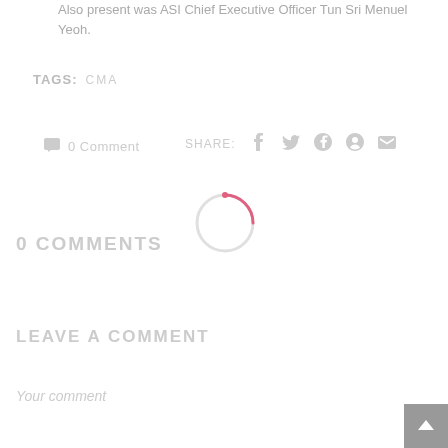Also present was ASI Chief Executive Officer Tun Sri Menuel Yeoh.
TAGS:  CMA
0 Comment  SHARE:  f  t  G+  ⊕  ✉
[Figure (other): Loading spinner circle, partially pink/red arc on white circle outline]
0 COMMENTS
LEAVE A COMMENT
Your comment